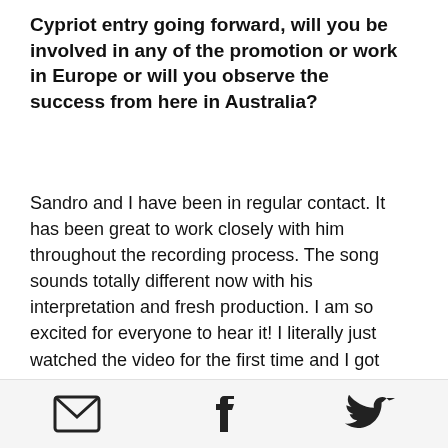Cypriot entry going forward, will you be involved in any of the promotion or work in Europe or will you observe the success from here in Australia?
Sandro and I have been in regular contact. It has been great to work closely with him throughout the recording process. The song sounds totally different now with his interpretation and fresh production. I am so excited for everyone to hear it! I literally just watched the video for the first time and I got goosebumps.. I'm so excited!
Fortunately I get to watch it live from
[Figure (other): Footer bar with three social media icons: email envelope, Facebook logo, Twitter bird]